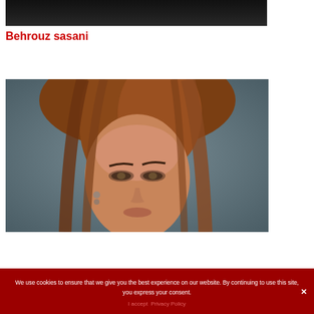[Figure (photo): Top cropped portion of a dark studio photograph, showing partial view at the very top of the page]
Behrouz sasani
[Figure (photo): Portrait photograph of a young woman with auburn/brown hair, wearing earrings, against a grey studio background. Close-up showing face and upper shoulders with dramatic makeup.]
We use cookies to ensure that we give you the best experience on our website. By continuing to use this site, you express your consent.
I accept   Privacy Policy